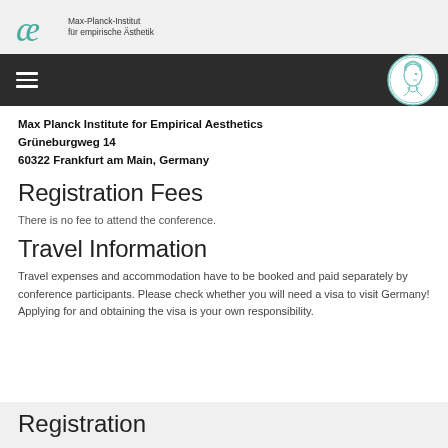[Figure (logo): Max Planck Institute for Empirical Aesthetics logo - stylized ae letterform in teal/green with institute name]
Max-Planck-Institut für empirische Ästhetik
[Figure (logo): Max Planck Society circular emblem with Minerva head]
Max Planck Institute for Empirical Aesthetics
Grüneburgweg 14
60322 Frankfurt am Main, Germany
Registration Fees
There is no fee to attend the conference.
Travel Information
Travel expenses and accommodation have to be booked and paid separately by conference participants. Please check whether you will need a visa to visit Germany! Applying for and obtaining the visa is your own responsibility.
Registration